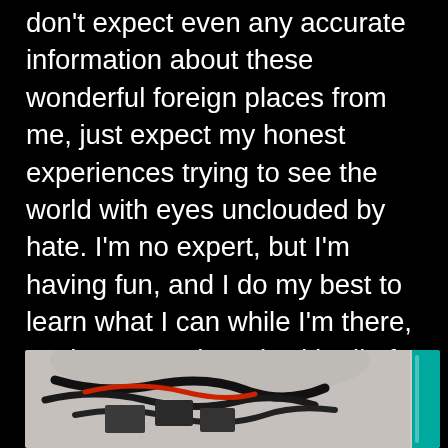don't expect even any accurate information about these wonderful foreign places from me, just expect my honest experiences trying to see the world with eyes unclouded by hate. I'm no expert, but I'm having fun, and I do my best to learn what I can while I'm there, so that I can share it with all of you folks that I miss so dearly on a daily basis. On that note: come visit me sometime somewhere.
[Figure (photo): A photo showing mechanical or electronic components with cables/wiring visible, with a teal/turquoise strip on the right edge.]